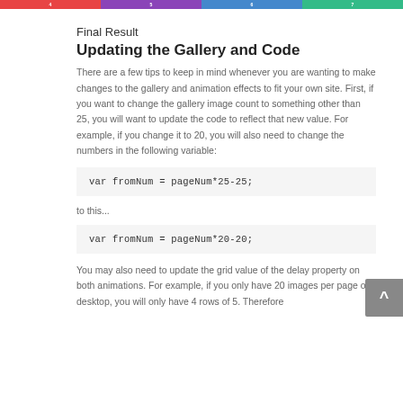[Figure (other): Colored navigation bar with 4 colored segments (red, purple, blue, teal) with small white numbers]
Final Result
Updating the Gallery and Code
There are a few tips to keep in mind whenever you are wanting to make changes to the gallery and animation effects to fit your own site.  First, if you want to change the gallery image count to something other than 25, you will want to update the code to reflect that new value.  For example, if you change it to 20, you will also need to change the numbers in the following variable:
to this...
You may also need to update the grid value of the delay property on both animations.  For example, if you only have 20 images per page on desktop, you will only have 4 rows of 5.  Therefore